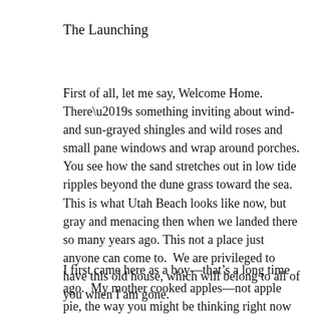The Launching
First of all, let me say, Welcome Home.  There’s something inviting about wind- and sun-grayed shingles and wild roses and small pane windows and wrap around porches. You see how the sand stretches out in low tide ripples beyond the dune grass toward the sea.  This is what Utah Beach looks like now, but gray and menacing then when we landed there so many years ago. This not a place just anyone can come to.  We are privileged to have this old house, which will belong to all of you when I am gone.
I first came here as a boy—that’s a long time ago.  My mother cooked apples—not apple pie, the way you might be thinking right now because of the smell in the